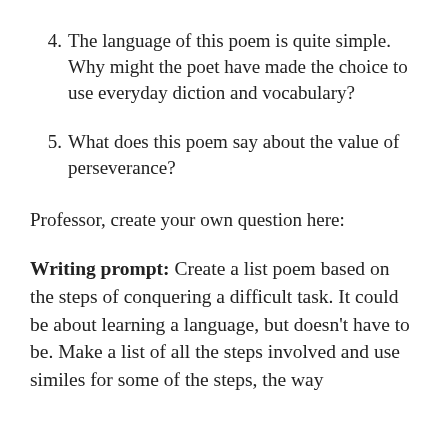4. The language of this poem is quite simple. Why might the poet have made the choice to use everyday diction and vocabulary?
5. What does this poem say about the value of perseverance?
Professor, create your own question here:
Writing prompt: Create a list poem based on the steps of conquering a difficult task. It could be about learning a language, but doesn't have to be. Make a list of all the steps involved and use similes for some of the steps, the way